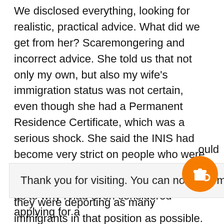We disclosed everything, looking for realistic, practical advice. What did we get from her? Scaremongering and incorrect advice. She told us that not only my own, but also my wife's immigration status was not certain, even though she had a Permanent Residence Certificate, which was a serious shock. She said the INIS had become very strict on people who were receiving social welfare and were an economic burden on the State. She said they were deporting as many immigrants in that position as possible.
Thank you for visiting. You can now buy me a coffee!
as to why I had even considered applying for a